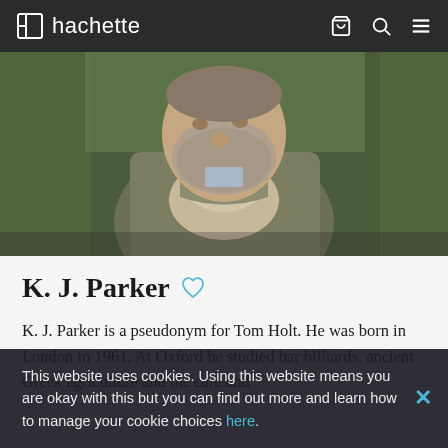hachette
[Figure (photo): Portrait photo of K. J. Parker (Tom Holt), a bearded man in a green coat and cream turtleneck sweater, standing in front of moss-covered trees.]
K. J. Parker ♡
K. J. Parker is a pseudonym for Tom Holt. He was born in London in 1961. At Oxford he studied bar billiards, ancient Greek agriculture and the care and
This website uses cookies. Using this website means you are okay with this but you can find out more and learn how to manage your cookie choices here.